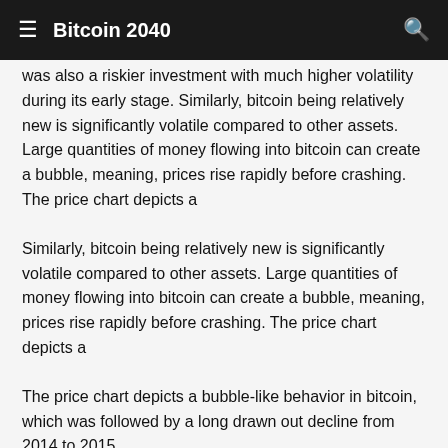≡ Bitcoin 2040
was also a riskier investment with much higher volatility during its early stage. Similarly, bitcoin being relatively new is significantly volatile compared to other assets. Large quantities of money flowing into bitcoin can create a bubble, meaning, prices rise rapidly before crashing. The price chart depicts a
Similarly, bitcoin being relatively new is significantly volatile compared to other assets. Large quantities of money flowing into bitcoin can create a bubble, meaning, prices rise rapidly before crashing. The price chart depicts a
The price chart depicts a bubble-like behavior in bitcoin, which was followed by a long drawn out decline from 2014 to 2015.